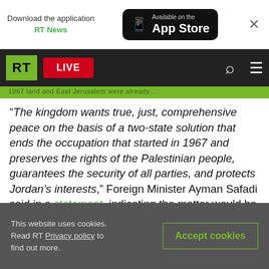[Figure (screenshot): App Store download banner with RT News label]
[Figure (screenshot): RT website navigation bar with LIVE button, search and menu icons]
“The kingdom wants true, just, comprehensive peace on the basis of a two-state solution that ends the occupation that started in 1967 and preserves the rights of the Palestinian people, guarantees the security of all parties, and protects Jordan’s interests,” Foreign Minister Ayman Safadi said in a statement, indicating the matter would be discussed at Saturday’s emergency meeting of the Arab League Council. He warned Israel against trying to “impose new facts on the ground, such as
This website uses cookies. Read RT Privacy policy to find out more.